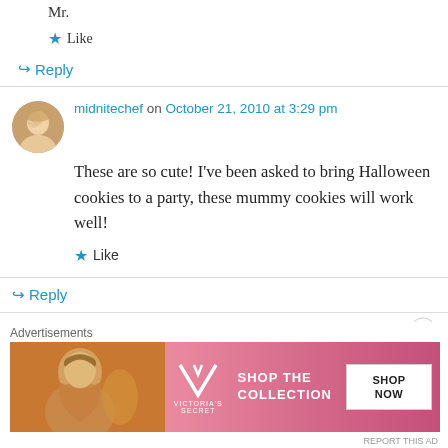Mr.
★ Like
↪ Reply
midnitechef on October 21, 2010 at 3:29 pm
These are so cute! I've been asked to bring Halloween cookies to a party, these mummy cookies will work well!
★ Like
↪ Reply
[Figure (photo): Avatar photo of a blonde woman (commenter midnitechef)]
Advertisements
[Figure (infographic): Victoria's Secret advertisement banner: 'SHOP THE COLLECTION' with SHOP NOW button and model photo]